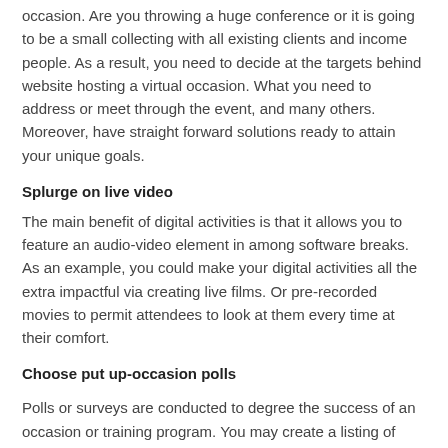occasion. Are you throwing a huge conference or it is going to be a small collecting with all existing clients and income people. As a result, you need to decide at the targets behind website hosting a virtual occasion. What you need to address or meet through the event, and many others. Moreover, have straight forward solutions ready to attain your unique goals.
Splurge on live video
The main benefit of digital activities is that it allows you to feature an audio-video element in among software breaks. As an example, you could make your digital activities all the extra impactful via creating live films. Or pre-recorded movies to permit attendees to look at them every time at their comfort.
Choose put up-occasion polls
Polls or surveys are conducted to degree the success of an occasion or training program. You may create a listing of questions based on the sort of digital event you have organized. As an instance, you may request members to call the list of merchandise you noted during your new product release birthday party or broaden. A hard and fast of standard questions that will help you discover what the attendees think and are areas of improvement.